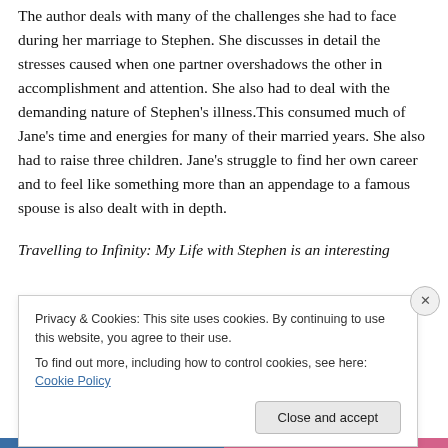The author deals with many of the challenges she had to face during her marriage to Stephen. She discusses in detail the stresses caused when one partner overshadows the other in accomplishment and attention. She also had to deal with the demanding nature of Stephen's illness.This consumed much of Jane's time and energies for many of their married years. She also had to raise three children. Jane's struggle to find her own career and to feel like something more than an appendage to a famous spouse is also dealt with in depth.
Travelling to Infinity: My Life with Stephen is an interesting
Privacy & Cookies: This site uses cookies. By continuing to use this website, you agree to their use.
To find out more, including how to control cookies, see here: Cookie Policy
Close and accept